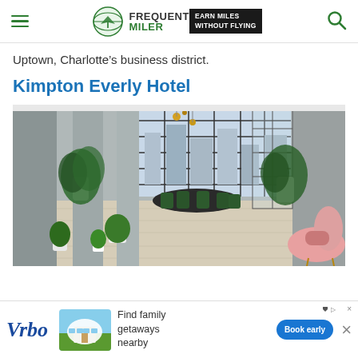Frequent Miler — Earn Miles Without Flying
Uptown, Charlotte’s business district.
Kimpton Everly Hotel
[Figure (photo): Interior lobby of Kimpton Everly Hotel showing large floor-to-ceiling windows, lush indoor plants, light wood floors, modern pendant lighting, a dining/seating area with dark chairs, and a pink lounge chair in the foreground.]
[Figure (other): Vrbo advertisement banner: 'Find family getaways nearby' with Book early button and close X.]